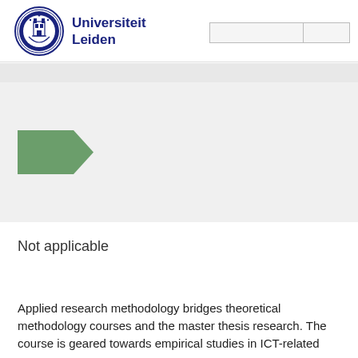Universiteit Leiden
[Figure (logo): Universiteit Leiden circular crest logo in navy blue with Latin text and academic imagery]
[Figure (infographic): Green arrow/chevron shape pointing right, used as a decorative navigation or section marker element]
Not applicable
Applied research methodology bridges theoretical methodology courses and the master thesis research. The course is geared towards empirical studies in ICT-related